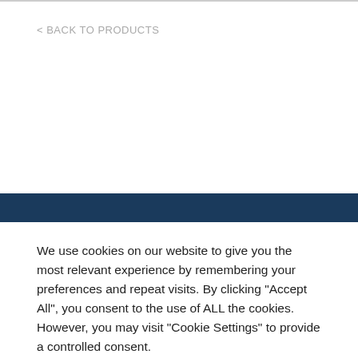< BACK TO PRODUCTS
We use cookies on our website to give you the most relevant experience by remembering your preferences and repeat visits. By clicking "Accept All", you consent to the use of ALL the cookies. However, you may visit "Cookie Settings" to provide a controlled consent.
Cookie Settings
Accept All